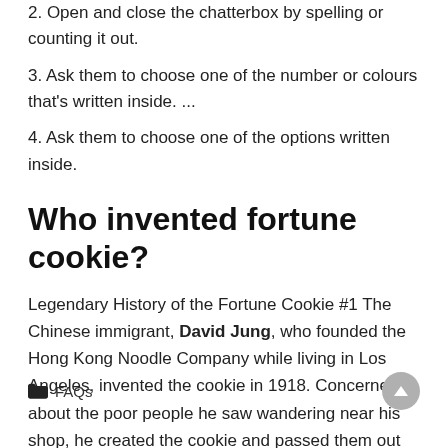2. Open and close the chatterbox by spelling or counting it out.
3. Ask them to choose one of the number or colours that's written inside. ...
4. Ask them to choose one of the options written inside.
Who invented fortune cookie?
Legendary History of the Fortune Cookie #1 The Chinese immigrant, David Jung, who founded the Hong Kong Noodle Company while living in Los Angeles, invented the cookie in 1918. Concerned about the poor people he saw wandering near his shop, he created the cookie and passed them out free on the streets.
FAQs